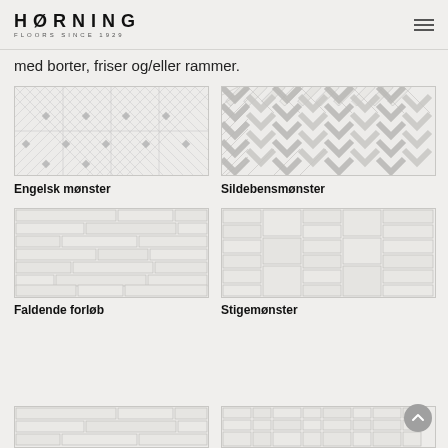HØRNING FLOORS SINCE 1929
med borter, friser og/eller rammer.
[Figure (illustration): Engelsk mønster parquet floor pattern - diagonal basketweave with small diamond accents]
Engelsk mønster
[Figure (illustration): Sildebensmønster parquet floor pattern - herringbone pattern]
Sildebensmønster
[Figure (illustration): Faldende forløb parquet floor pattern - random length plank pattern]
Faldende forløb
[Figure (illustration): Stigemønster parquet floor pattern - vertical plank columns]
Stigemønster
[Figure (illustration): Partial view of another floor pattern at bottom of page]